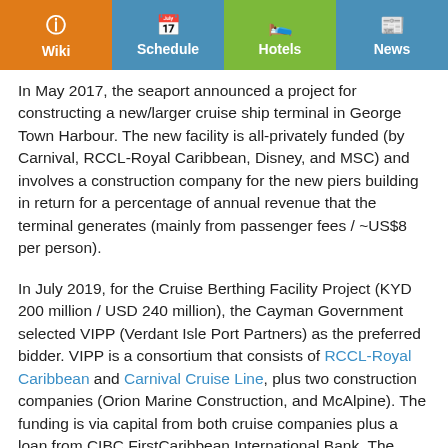Wiki | Schedule | Hotels | News
In May 2017, the seaport announced a project for constructing a new/larger cruise ship terminal in George Town Harbour. The new facility is all-privately funded (by Carnival, RCCL-Royal Caribbean, Disney, and MSC) and involves a construction company for the new piers building in return for a percentage of annual revenue that the terminal generates (mainly from passenger fees / ~US$8 per person).
In July 2019, for the Cruise Berthing Facility Project (KYD 200 million / USD 240 million), the Cayman Government selected VIPP (Verdant Isle Port Partners) as the preferred bidder. VIPP is a consortium that consists of RCCL-Royal Caribbean and Carnival Cruise Line, plus two construction companies (Orion Marine Construction, and McAlpine). The funding is via capital from both cruise companies plus a loan from CIBC FirstCaribbean International Bank. The expected revenue for the companies from the new cruise terminal is ~KYD 333 million (USD 400 million) over its 25-year lifespan, based on estimated ~2 million passengers